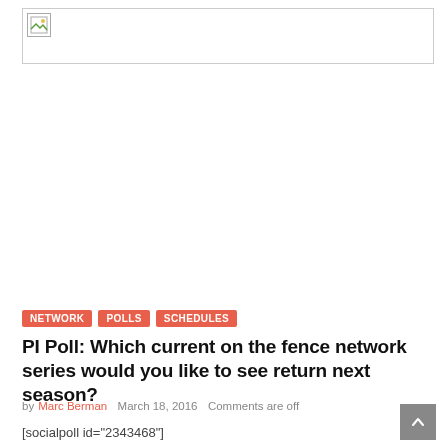[Figure (photo): Broken/placeholder image in a bordered rectangle near the top of the page]
NETWORK   POLLS   SCHEDULES
PI Poll: Which current on the fence network series would you like to see return next season?
by Marc Berman   March 18, 2016   Comments are off
[socialpoll id="2343468"]